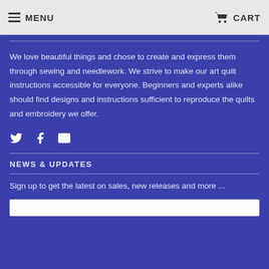MENU  CART
We love beautiful things and chose to create and express them through sewing and needlework. We strive to make our art quilt instructions accessible for everyone. Beginners and experts alike should find designs and instructions sufficient to reproduce the quilts and embroidery we offer.
[Figure (infographic): Social media icons: Twitter bird icon, Facebook F icon, Email envelope icon]
NEWS & UPDATES
Sign up to get the latest on sales, new releases and more ...